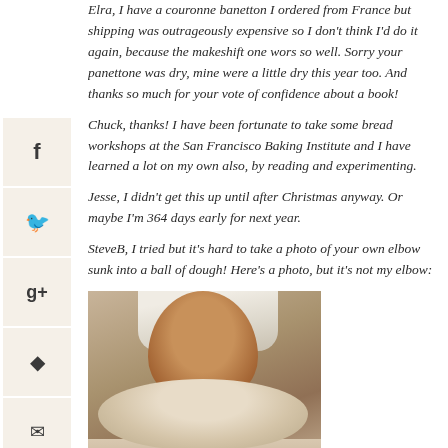Elra, I have a couronne banetton I ordered from France but shipping was outrageously expensive so I don't think I'd do it again, because the makeshift one wors so well. Sorry your panettone was dry, mine were a little dry this year too. And thanks so much for your vote of confidence about a book!
Chuck, thanks! I have been fortunate to take some bread workshops at the San Francisco Baking Institute and I have learned a lot on my own also, by reading and experimenting.
Jesse, I didn't get this up until after Christmas anyway. Or maybe I'm 364 days early for next year.
SteveB, I tried but it's hard to take a photo of your own elbow sunk into a ball of dough! Here's a photo, but it's not my elbow:
[Figure (photo): A close-up photo of a hand/arm pressing into a ball of bread dough on a floured surface. The person is wearing a white shirt or sleeve.]